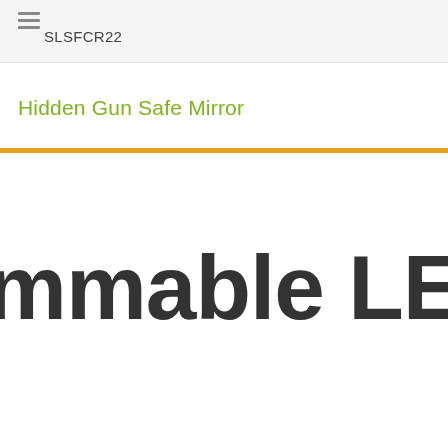SLSFCR22
Hidden Gun Safe Mirror
mmable LED Ligh